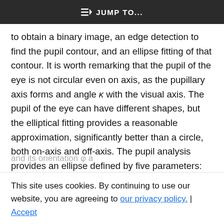JUMP TO...
to obtain a binary image, an edge detection to find the pupil contour, and an ellipse fitting of that contour. It is worth remarking that the pupil of the eye is not circular even on axis, as the pupillary axis forms and angle κ with the visual axis. The pupil of the eye can have different shapes, but the elliptical fitting provides a reasonable approximation, significantly better than a circle, both on-axis and off-axis. The pupil analysis provides an ellipse defined by five parameters: the coordinates of its
center (x₀, y₀); the two major and minor semi-axes s
and its orientation φ a
to program the laser scanner, for each
This site uses cookies. By continuing to use our website, you are agreeing to our privacy policy. | Accept